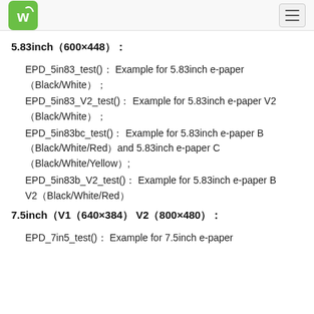Waveshare logo and hamburger menu
5.83inch（600×448）：
EPD_5in83_test()： Example for 5.83inch e-paper （Black/White）；
EPD_5in83_V2_test()： Example for 5.83inch e-paper V2 （Black/White）；
EPD_5in83bc_test()： Example for 5.83inch e-paper B （Black/White/Red）and 5.83inch e-paper C （Black/White/Yellow）;
EPD_5in83b_V2_test()： Example for 5.83inch e-paper B V2（Black/White/Red）
7.5inch（V1（640×384） V2（800×480）：
EPD_7in5_test()： Example for 7.5inch e-paper